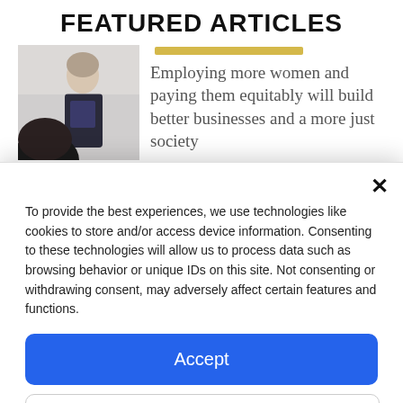FEATURED ARTICLES
[Figure (photo): A woman presenting or speaking, photographed from the side, with another person in the foreground with dark hair.]
Employing more women and paying them equitably will build better businesses and a more just society
To provide the best experiences, we use technologies like cookies to store and/or access device information. Consenting to these technologies will allow us to process data such as browsing behavior or unique IDs on this site. Not consenting or withdrawing consent, may adversely affect certain features and functions.
Accept
Deny